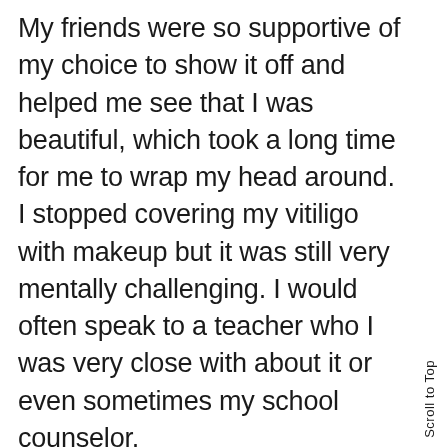My friends were so supportive of my choice to show it off and helped me see that I was beautiful, which took a long time for me to wrap my head around. I stopped covering my vitiligo with makeup but it was still very mentally challenging. I would often speak to a teacher who I was very close with about it or even sometimes my school counselor.
LD: It sounds like you slowly started to change your mindset about vitiligo. How has that gotten you to where you are today?
TF: Yes, I knew I wanted to change my attitude about how I viewed my vitiligo. I wanted to focus on self-acceptance rather than how others viewed me. Once I began to embrace it and